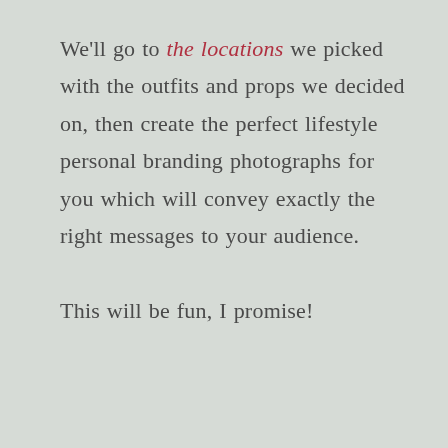We'll go to the locations we picked with the outfits and props we decided on, then create the perfect lifestyle personal branding photographs for you which will convey exactly the right messages to your audience.

This will be fun, I promise!